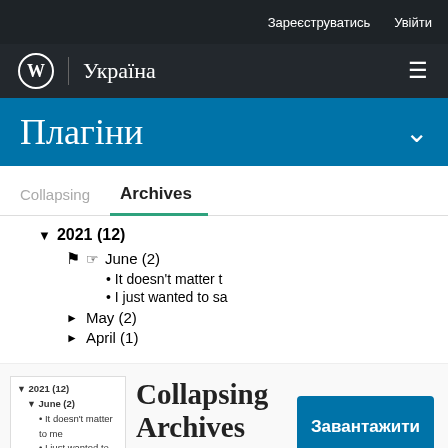Зареєструватись   Увійти
WordPress | Україна
Плагіни
Collapsing   Archives
2021 (12)
June (2)
It doesn't matter t
I just wanted to sa
May (2)
April (1)
[Figure (screenshot): Sidebar mini preview of Collapsing Archives plugin showing expandable year/month archive tree with 2021 entries]
Collapsing Archives
Від автора Robert Felty
Завантажити